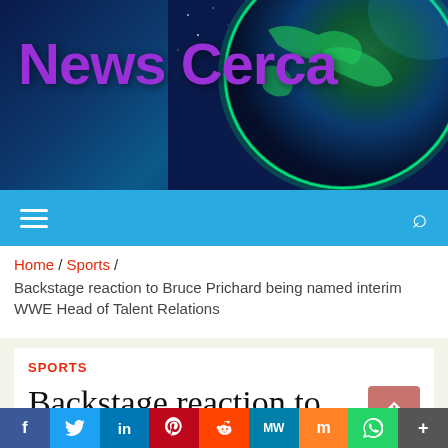News Cerca
[Figure (illustration): Globe/Earth background image for News Cerca website header, showing Earth from space with green-lit continents, dark blue ocean, and atmospheric glow]
Home / Sports / Backstage reaction to Bruce Prichard being named interim WWE Head of Talent Relations
SPORTS
Backstage reaction to Bruce Prichard being